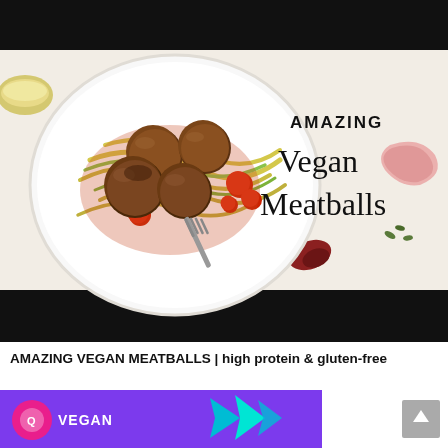[Figure (photo): YouTube-style video thumbnail with black letterbox bars at top and bottom. Center shows a white plate piled with vegan meatballs on zucchini noodles with cherry tomatoes, with a fork. Text overlay on right reads 'AMAZING Vegan Meatballs' in bold sans and serif fonts. Background is white/marble with dried tomatoes and herbs scattered around.]
AMAZING VEGAN MEATBALLS | high protein & gluten-free
[Figure (illustration): Bottom portion of page shows a purple/violet banner on the left with a pink circle logo and 'VEGAN' text, plus teal geometric arrow shapes. A gray scroll-to-top button appears on the right.]